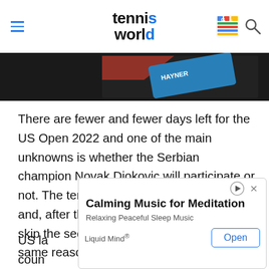tennis world
[Figure (photo): Partial image of a tennis-related item on dark background with text HAYNER visible]
There are fewer and fewer days left for the US Open 2022 and one of the main unknowns is whether the Serbian champion Novak Djokovic will participate or not. The tennis player is a strong doubt and, after the Australian Open, he could skip the second Slam of the season for the same reason.
US la... coun... so affec... vic
[Figure (screenshot): Advertisement overlay: Calming Music for Meditation - Relaxing Peaceful Sleep Music - Liquid Mind® - Open button]